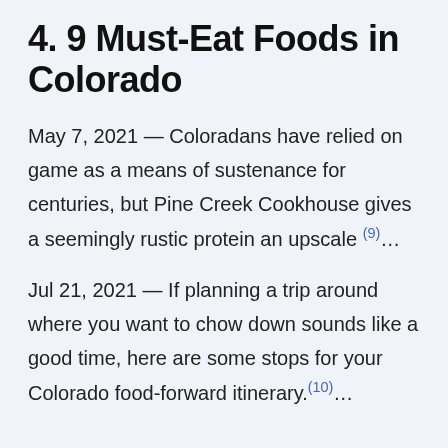4. 9 Must-Eat Foods in Colorado
May 7, 2021 — Coloradans have relied on game as a means of sustenance for centuries, but Pine Creek Cookhouse gives a seemingly rustic protein an upscale (9)…
Jul 21, 2021 — If planning a trip around where you want to chow down sounds like a good time, here are some stops for your Colorado food-forward itinerary.(10)…